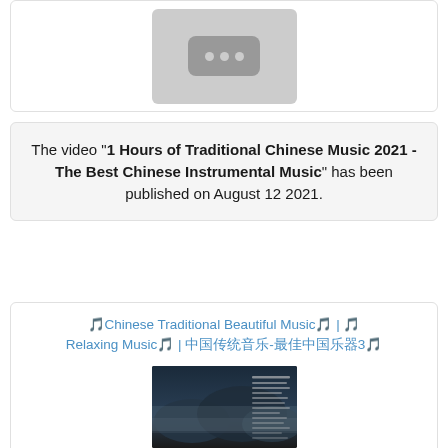[Figure (other): Video thumbnail placeholder with dark rounded rectangle and three dots]
The video "1 Hours of Traditional Chinese Music 2021 - The Best Chinese Instrumental Music" has been published on August 12 2021.
🎵Chinese Traditional Beautiful Music🎵 | 🎵Relaxing Music🎵 | 中国传统音乐-最佳中国乐器3🎵
[Figure (photo): Thumbnail image showing misty mountain landscape with Chinese text overlay on dark background]